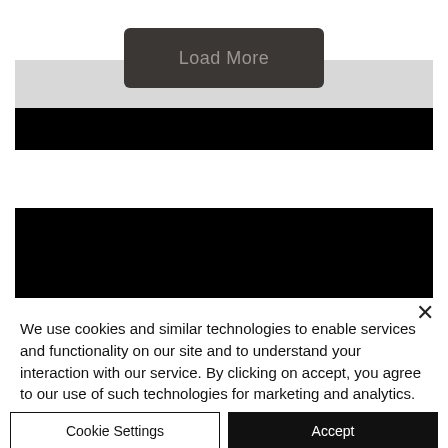[Figure (screenshot): Website UI showing a dark rounded 'Load More' button on a light gray bar, with a black bar beneath it, and another black bar lower on the page representing content blocks.]
We use cookies and similar technologies to enable services and functionality on our site and to understand your interaction with our service. By clicking on accept, you agree to our use of such technologies for marketing and analytics.
Cookie Settings
Accept